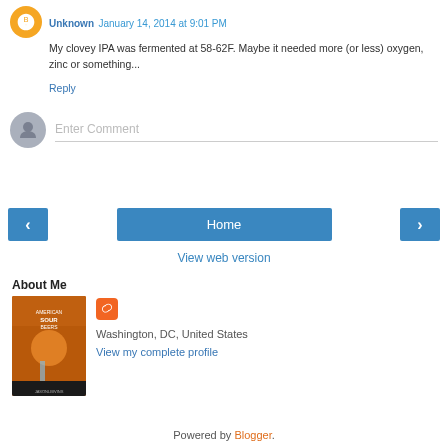Unknown January 14, 2014 at 9:01 PM
My clovey IPA was fermented at 58-62F. Maybe it needed more (or less) oxygen, zinc or something...
Reply
Enter Comment
‹
Home
›
View web version
About Me
[Figure (photo): Book cover thumbnail - American Sour Beers]
Washington, DC, United States
View my complete profile
Powered by Blogger.